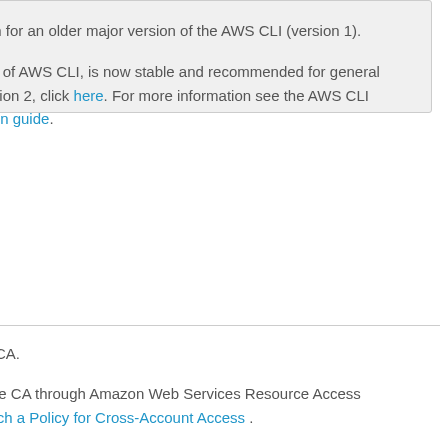on for an older major version of the AWS CLI (version 1).
sion of AWS CLI, is now stable and recommended for general version 2, click here. For more information see the AWS CLI ration guide.
ate CA.
rivate CA through Amazon Web Services Resource Access Attach a Policy for Cross-Account Access .
and removed with DeletePolicy .